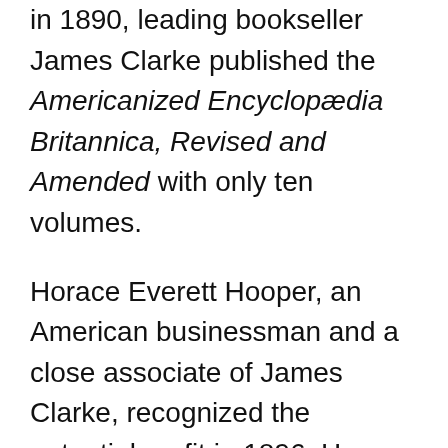in 1890, leading bookseller James Clarke published the Americanized Encyclopædia Britannica, Revised and Amended with only ten volumes.
Horace Everett Hooper, an American businessman and a close associate of James Clarke, recognized the potential profit in 1896. Hooper learned that Britannica and The Times of London were in financial difficulties. Hooper partnered with Clarke, Clarke's brother George, and Walter Montgomery Jackson to sell the Britannica under the sponsorship of The Times. The exceptional profits delighted the manager of The Times, and the partnership sold over 20,000 copies of Britannica in the United States. This caused A & C Black to move to London in 1895, and in 1901, all the